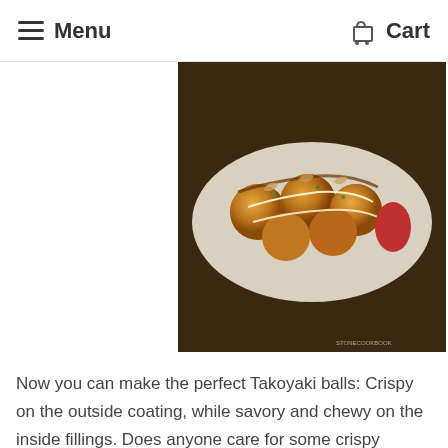Menu   Cart
[Figure (photo): Takoyaki balls on a white plate topped with bonito flakes, mayo drizzle, and green onions, on a dark wooden surface]
Now you can make the perfect Takoyaki balls: Crispy on the outside coating, while savory and chewy on the inside fillings. Does anyone care for some crispy Takoyaki? Here's how to make them!
1. First, start with the Takoyaki batter. You need to combine some of the dry ingredients including flour, baking powder, and salt in a large bowl. Next, add the eggs,